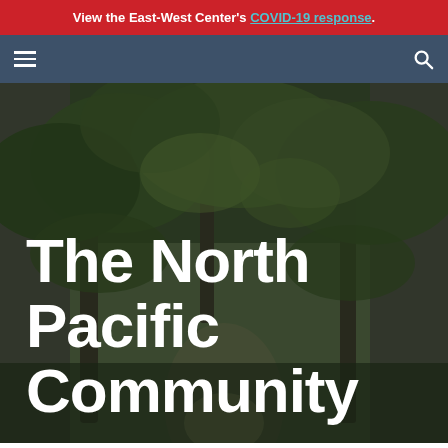View the East-West Center's COVID-19 response.
[Figure (screenshot): Navigation bar with hamburger menu icon on the left and search icon on the right, dark blue-gray background]
[Figure (photo): Dark atmospheric photo of a narrow alley or path with large overhanging trees and stone walls, with large white bold text overlay reading 'The North Pacific Community']
The North Pacific Community